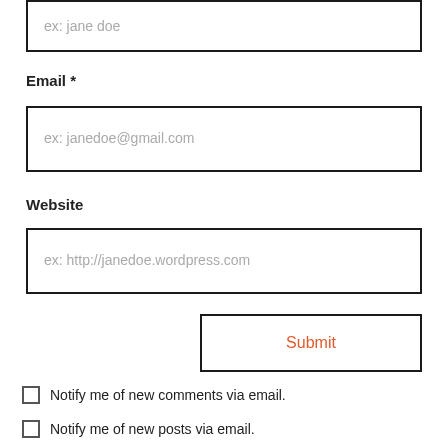[Figure (screenshot): Partial form input box at top showing placeholder 'ex: jane doe']
Email *
[Figure (screenshot): Email input box with placeholder 'ex: janedoe@gmail.com']
Website
[Figure (screenshot): Website input box with placeholder 'ex: http://janedoe.wordpress.com']
[Figure (screenshot): Submit button with orange/red 'Submit' text]
Notify me of new comments via email.
Notify me of new posts via email.